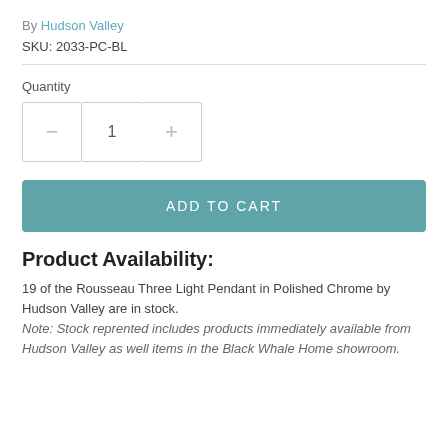By Hudson Valley
SKU: 2033-PC-BL
Quantity
ADD TO CART
Product Availability:
19 of the Rousseau Three Light Pendant in Polished Chrome by Hudson Valley are in stock.
Note: Stock reprented includes products immediately available from Hudson Valley as well items in the Black Whale Home showroom.